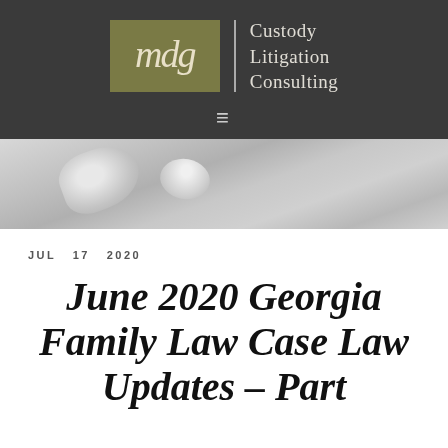[Figure (logo): MDG Custody Litigation Consulting logo — olive/khaki green square with script 'mdg' text in cream, vertical divider, and 'Custody Litigation Consulting' text in light gray on dark background]
≡
[Figure (photo): Blurred silver/gray abstract background image, possibly fabric or metallic surface]
JUL  17  2020
June 2020 Georgia Family Law Case Law Updates – Part